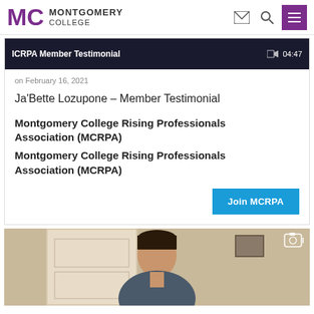MONTGOMERY COLLEGE
[Figure (screenshot): Video thumbnail strip showing 'ICRPA Member Testimonial' with timestamp 04:47 on dark background]
on February 16, 2021
Ja'Bette Lozupone - Member Testimonial
Montgomery College Rising Professionals Association (MCRPA)
Montgomery College Rising Professionals Association (MCRPA)
Join MCRPA
[Figure (photo): Photo of a person (young man) from the shoulders up, indoor setting with a door in the background]